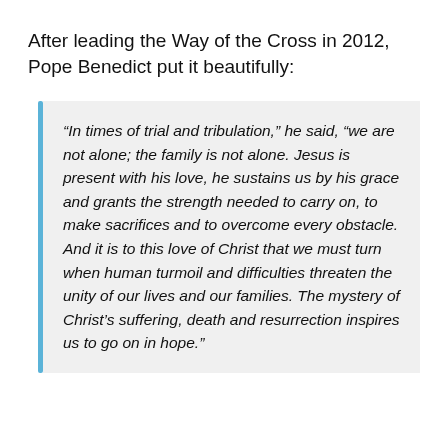After leading the Way of the Cross in 2012, Pope Benedict put it beautifully:
“In times of trial and tribulation,” he said, “we are not alone; the family is not alone. Jesus is present with his love, he sustains us by his grace and grants the strength needed to carry on, to make sacrifices and to overcome every obstacle. And it is to this love of Christ that we must turn when human turmoil and difficulties threaten the unity of our lives and our families. The mystery of Christ’s suffering, death and resurrection inspires us to go on in hope.”